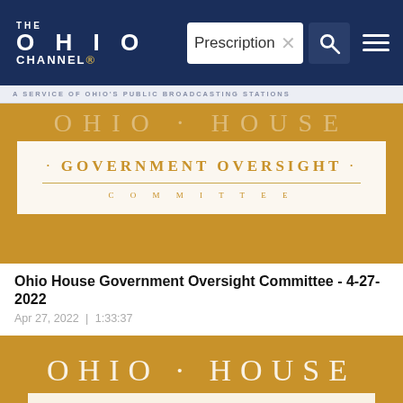THE OHIO CHANNEL
A SERVICE OF OHIO'S PUBLIC BROADCASTING STATIONS
[Figure (screenshot): Ohio House Government Oversight Committee title card on gold background with white box containing text]
Ohio House Government Oversight Committee - 4-27-2022
Apr 27, 2022 | 1:33:37
[Figure (screenshot): Ohio House title card on gold background, partially visible]